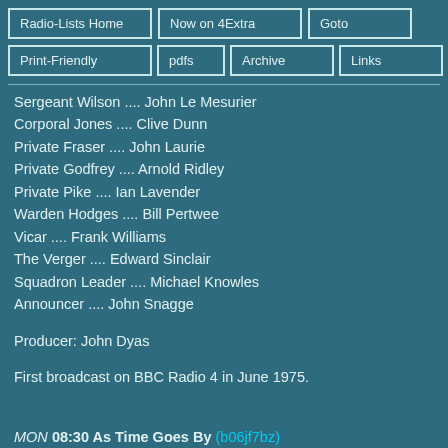Radio-Lists Home | Now on 4Extra | Goto | Print-Friendly | pdfs | Archive | Links | Contact
Sergeant Wilson .... John Le Mesurier
Corporal Jones .... Clive Dunn
Private Fraser .... John Laurie
Private Godfrey .... Arnold Ridley
Private Pike .... Ian Lavender
Warden Hodges .... Bill Pertwee
Vicar .... Frank Williams
The Verger .... Edward Sinclair
Squadron Leader .... Michael Knowles
Announcer .... John Snagge
Producer: John Dyas
First broadcast on BBC Radio 4 in June 1975.
MON 08:30 As Time Goes By (b06jf7bz)
Series 3